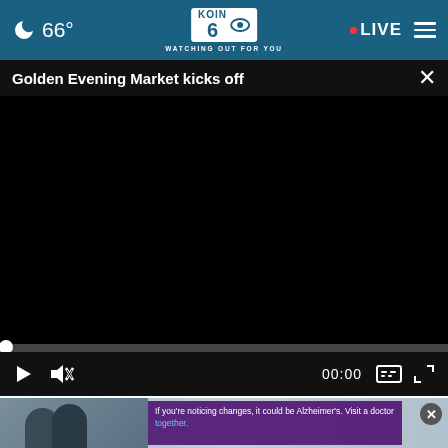🌙 66° | KOIN 6 CBS — WATCHING OUT FOR YOU | • LIVE ≡
Golden Evening Market kicks off
[Figure (screenshot): Black video player area showing no content playing]
00:00
[Figure (screenshot): Advertisement: If you're noticing changes, it could be Alzheimer's. Visit a doctor together.]